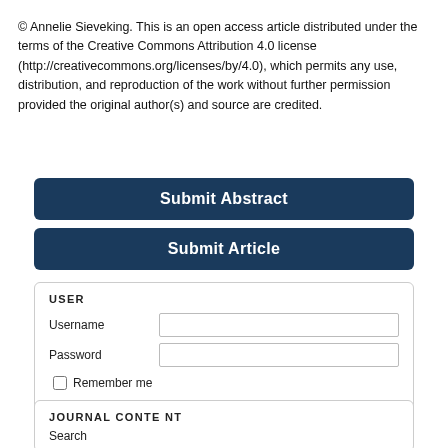© Annelie Sieveking. This is an open access article distributed under the terms of the Creative Commons Attribution 4.0 license (http://creativecommons.org/licenses/by/4.0), which permits any use, distribution, and reproduction of the work without further permission provided the original author(s) and source are credited.
Submit Abstract
Submit Article
USER
Username
Password
Remember me
Register  Forgot password  Login
JOURNAL CONTENT
Search